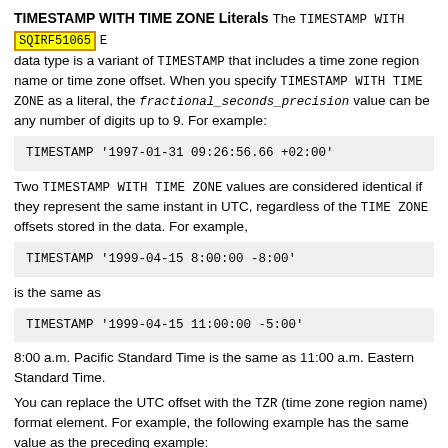TIMESTAMP WITH TIME ZONE Literals The TIMESTAMP WITH TIME ZONE data type is a variant of TIMESTAMP that includes a time zone region name or time zone offset. When you specify TIMESTAMP WITH TIME ZONE as a literal, the fractional_seconds_precision value can be any number of digits up to 9. For example:
TIMESTAMP '1997-01-31 09:26:56.66 +02:00'
Two TIMESTAMP WITH TIME ZONE values are considered identical if they represent the same instant in UTC, regardless of the TIME ZONE offsets stored in the data. For example,
TIMESTAMP '1999-04-15 8:00:00 -8:00'
is the same as
TIMESTAMP '1999-04-15 11:00:00 -5:00'
8:00 a.m. Pacific Standard Time is the same as 11:00 a.m. Eastern Standard Time.
You can replace the UTC offset with the TZR (time zone region name) format element. For example, the following example has the same value as the preceding example: